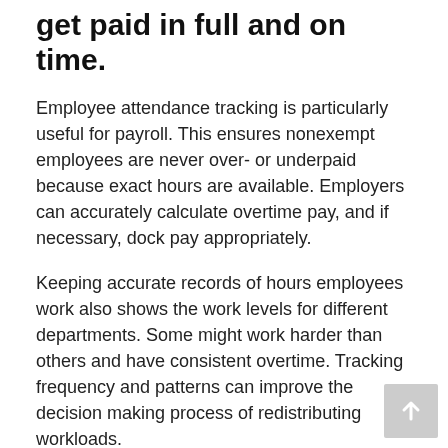get paid in full and on time.
Employee attendance tracking is particularly useful for payroll. This ensures nonexempt employees are never over- or underpaid because exact hours are available. Employers can accurately calculate overtime pay, and if necessary, dock pay appropriately.
Keeping accurate records of hours employees work also shows the work levels for different departments. Some might work harder than others and have consistent overtime. Tracking frequency and patterns can improve the decision making process of redistributing workloads.
Benefit #4: Boost employee